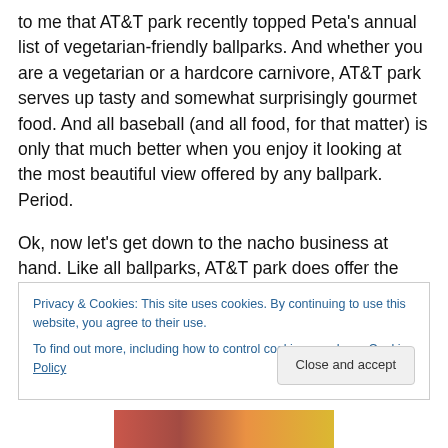to me that AT&T park recently topped Peta's annual list of vegetarian-friendly ballparks. And whether you are a vegetarian or a hardcore carnivore, AT&T park serves up tasty and somewhat surprisingly gourmet food. And all baseball (and all food, for that matter) is only that much better when you enjoy it looking at the most beautiful view offered by any ballpark. Period.
Ok, now let's get down to the nacho business at hand. Like all ballparks, AT&T park does offer the standard nacho fare – stale round chips, pump cheese and optional
Privacy & Cookies: This site uses cookies. By continuing to use this website, you agree to their use.
To find out more, including how to control cookies, see here: Cookie Policy